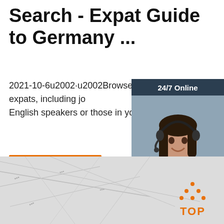Search - Expat Guide to Germany ...
2021-10-6u2002·u2002Browse our listings to find jobs in Germany for expats, including jobs for English speakers or those in your native
[Figure (other): Orange 'Get Price' button]
[Figure (other): 24/7 Online chat widget with woman wearing headset, 'Click here for free chat!' text, and QUOTATION button]
[Figure (other): Bottom strip with blurred map background and orange TOP logo with dot-house icon in bottom right]
[Figure (logo): Orange TOP logo with dot-triangle house icon above letters T-O-P]